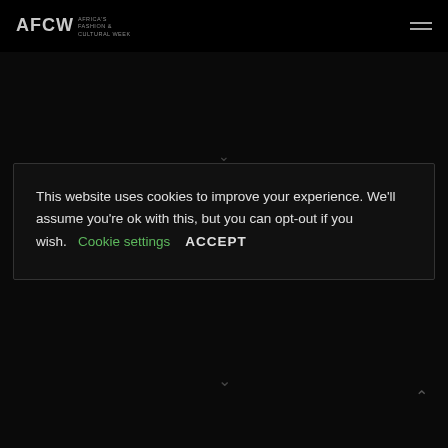AFCW AFRICA'S FASHION & CULTURAL WEEK
This website uses cookies to improve your experience. We'll assume you're ok with this, but you can opt-out if you wish.  Cookie settings  ACCEPT